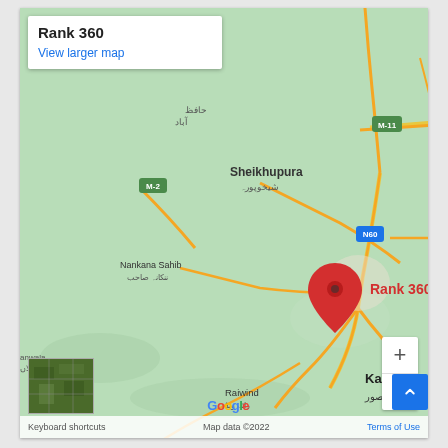[Figure (map): Google Maps screenshot showing a region around Lahore/Sheikhupura area in Pakistan/India border region. A red pin marker labeled 'Rank 360' is placed near Lahore. Visible locations include Sheikhupura, Narowal, Amritsar, Nankana Sahib, Kasur, Raiwind, Tam Taran Sahib, Firozpur, Sri Muktsar Sahib, Okara, Fazilka. Road labels include M-11, M-2, N60, 354, 703B. Map shows yellow roads on green terrain background.]
Rank 360
View larger map
Keyboard shortcuts   Map data ©2022   Terms of Use